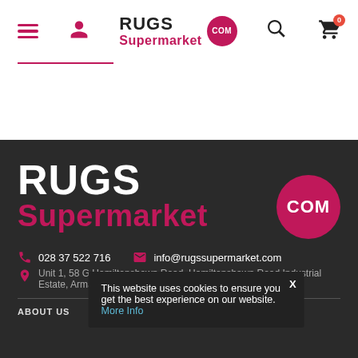[Figure (logo): Rugs Supermarket .com logo in header navigation bar with hamburger menu, person icon, search icon, and cart with badge showing 0]
[Figure (logo): Large Rugs Supermarket .com logo in dark footer section, white RUGS text, pink Supermarket text, pink circle with COM]
028 37 522 716
info@rugssupermarket.com
Unit 1, 58 G Hamiltonsbawn Road, Hamiltonsbawn Road Industrial Estate, Armagh, BT60 1HW
This website uses cookies to ensure you get the best experience on our website. More Info
ABOUT US
CUSTOMER SERVICE